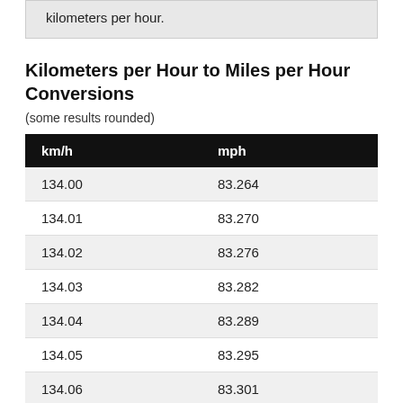kilometers per hour.
Kilometers per Hour to Miles per Hour Conversions
(some results rounded)
| km/h | mph |
| --- | --- |
| 134.00 | 83.264 |
| 134.01 | 83.270 |
| 134.02 | 83.276 |
| 134.03 | 83.282 |
| 134.04 | 83.289 |
| 134.05 | 83.295 |
| 134.06 | 83.301 |